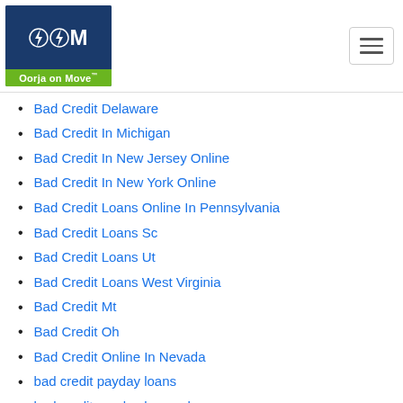Oorja on Move
Bad Credit Delaware
Bad Credit In Michigan
Bad Credit In New Jersey Online
Bad Credit In New York Online
Bad Credit Loans Online In Pennsylvania
Bad Credit Loans Sc
Bad Credit Loans Ut
Bad Credit Loans West Virginia
Bad Credit Mt
Bad Credit Oh
Bad Credit Online In Nevada
bad credit payday loans
bad credit payday loans uk
bad credit student loans guaranteed approval
badoo hookup sites
badoo mobile site